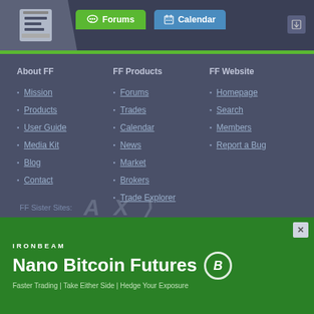Forums | Calendar
About FF
Mission
Products
User Guide
Media Kit
Blog
Contact
FF Products
Forums
Trades
Calendar
News
Market
Brokers
Trade Explorer
FF Website
Homepage
Search
Members
Report a Bug
FF Sister Sites:
[Figure (logo): Sister site logos: stylized A, X, and arrow/chevron marks in semi-transparent gray]
IRONBEAM
Nano Bitcoin Futures
Faster Trading | Take Either Side | Hedge Your Exposure